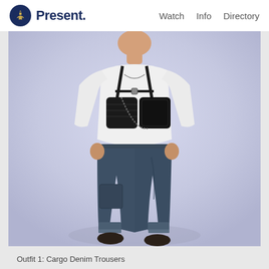Present. Watch Info Directory
[Figure (photo): A person wearing a white sweatshirt with a black leather chest rig/harness bag, dark blue cargo denim trousers with rolled cuffs, and dark shoes. The figure is posed walking against a light lavender/blue background.]
Outfit 1: Cargo Denim Trousers